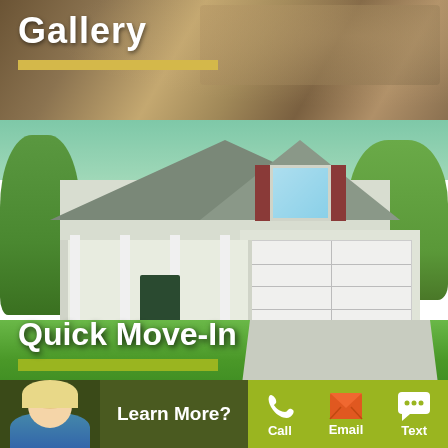Gallery
[Figure (photo): Photo collage background showing interior room furniture, books, and decor]
[Figure (photo): Exterior photo of a new construction single-family home with gray roof, attached garage, covered porch, and green lawn]
Quick Move-In
[Figure (photo): Close-up of an older couple (man and woman) outdoors, blurred background of fields]
Learn More?
Call
Email
Text